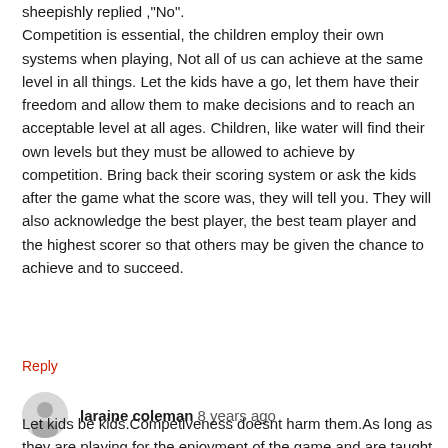sheepishly replied ,"No".
Competition is essential, the children employ their own systems when playing, Not all of us can achieve at the same level in all things. Let the kids have a go, let them have their freedom and allow them to make decisions and to reach an acceptable level at all ages. Children, like water will find their own levels but they must be allowed to achieve by competition. Bring back their scoring system or ask the kids after the game what the score was, they will tell you. They will also acknowledge the best player, the best team player and the highest scorer so that others may be given the chance to achieve and to succeed.
Reply
laraine coleman 8 years ago
Let kids be kids.Competiveness doesnt harm them.As long as they are playing for the enjoyment of the game and are taught coming second doent mean you played